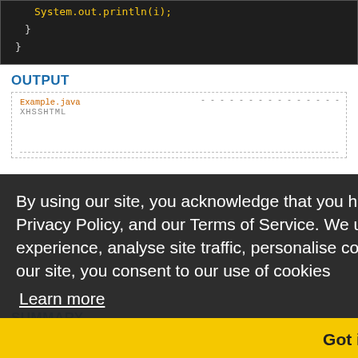[Figure (screenshot): Code block showing closing braces of a Java method/class in dark IDE theme]
OUTPUT
[Figure (screenshot): Output box showing file references including Example.java and XHSSHTML]
[Figure (screenshot): Cookie consent overlay with text: By using our site, you acknowledge that you have read our Revised Cookie Policy, Privacy Policy, and our Terms of Service. We use cookies to offer you a better browsing experience, analyse site traffic, personalise content, and serve targeted ads. By using our site, you consent to our use of cookies. Learn more. Got it! button.]
SUMMARY
In this chapter you learned about TreeSet class in Java with programming example. In the next chapter you will learn about SortedSet in Java.